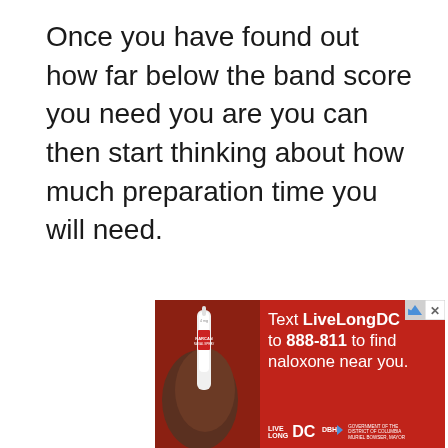Once you have found out how far below the band score you need you are you can then start thinking about how much preparation time you will need.
[Figure (infographic): Advertisement banner on red background. Left side shows a hand holding a Narcan nasal spray device. Right side has white text: 'Text LiveLongDC to 888-811 to find naloxone near you.' Bottom logos: LIVE LONG DC, DBH arrow logo, Government of the District of Columbia - Muriel Bowser, Mayor. Top right has ad badge with triangle and X icons.]